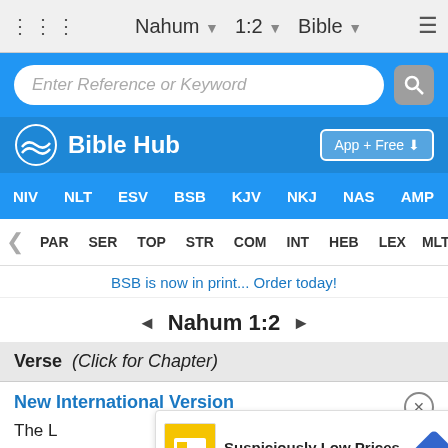Nahum  1:2  Bible
[Figure (screenshot): Search bar with placeholder text 'Enter Reference or Keyword' and search icon button]
[Figure (logo): Bible Hub logo with wave icon and 'App + Free' button]
NIV  NLT  ESV  BSB  KJV  NKJ  NAS  AMP  CS
PAR  SER  TOP  STR  COM  INT  HEB  LEX  MLT
BSB is now in print... Order today!
◄ Nahum 1:2 ►
Verse  (Click for Chapter)
New International Version
The L... LORD...  The LORD...is
[Figure (screenshot): Lidl advertisement overlay: 'Suspiciously Low Prices' with Lidl logo and blue arrow navigation icon]